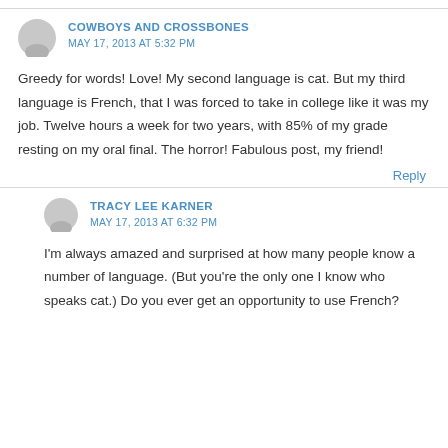COWBOYS AND CROSSBONES
MAY 17, 2013 AT 5:32 PM
Greedy for words! Love! My second language is cat. But my third language is French, that I was forced to take in college like it was my job. Twelve hours a week for two years, with 85% of my grade resting on my oral final. The horror! Fabulous post, my friend!
Reply
TRACY LEE KARNER
MAY 17, 2013 AT 6:32 PM
I'm always amazed and surprised at how many people know a number of language. (But you're the only one I know who speaks cat.) Do you ever get an opportunity to use French?